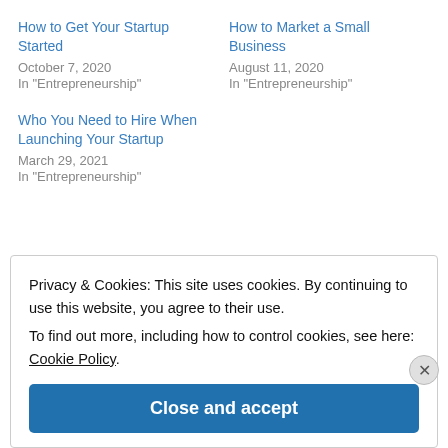How to Get Your Startup Started
October 7, 2020
In "Entrepreneurship"
How to Market a Small Business
August 11, 2020
In "Entrepreneurship"
Who You Need to Hire When Launching Your Startup
March 29, 2021
In "Entrepreneurship"
Privacy & Cookies: This site uses cookies. By continuing to use this website, you agree to their use. To find out more, including how to control cookies, see here: Cookie Policy
Close and accept